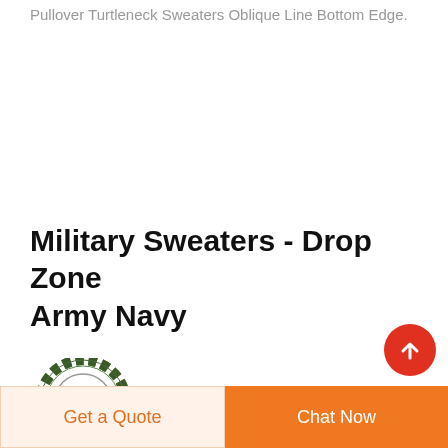Pullover Turtleneck Sweaters Oblique Line Bottom Edge.
Military Sweaters - Drop Zone Army Navy
[Figure (logo): DEEKON logo — circular camouflage-pattern ring with a red D in the center, and DEEKON text in red below]
Get a Quote | Chat Now